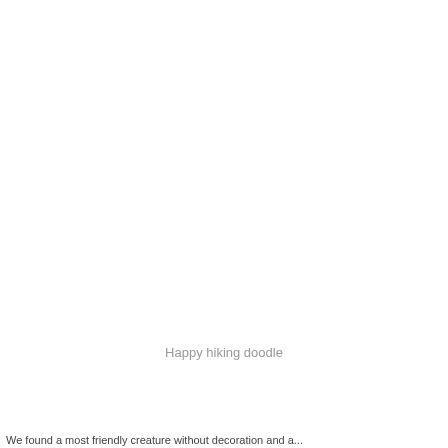Happy hiking doodle
We found a most friendly creature without decoration and a...